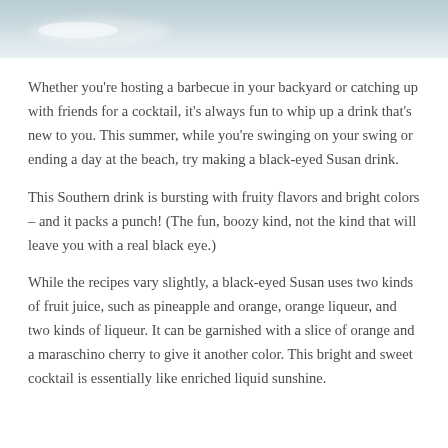[Figure (photo): Top portion of a photo showing a light blue-grey watery or misty background with a blurred glass or object]
Whether you're hosting a barbecue in your backyard or catching up with friends for a cocktail, it's always fun to whip up a drink that's new to you. This summer, while you're swinging on your swing or ending a day at the beach, try making a black-eyed Susan drink.
This Southern drink is bursting with fruity flavors and bright colors – and it packs a punch! (The fun, boozy kind, not the kind that will leave you with a real black eye.)
While the recipes vary slightly, a black-eyed Susan uses two kinds of fruit juice, such as pineapple and orange, orange liqueur, and two kinds of liqueur. It can be garnished with a slice of orange and a maraschino cherry to give it another color. This bright and sweet cocktail is essentially like enriched liquid sunshine.